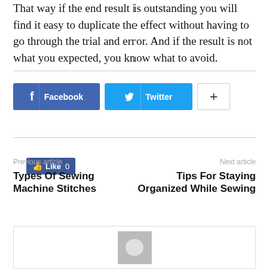That way if the end result is outstanding you will find it easy to duplicate the effect without having to go through the trial and error. And if the result is not what you expected, you know what to avoid.
[Figure (other): Social media sharing buttons: Like button (Facebook, count 0), Facebook share button, Twitter share button, and a plus/more button]
Previous article
Types Of Sewing Machine Stitches
Next article
Tips For Staying Organized While Sewing
[Figure (other): Author avatar placeholder box with gray background and circular profile image placeholder]